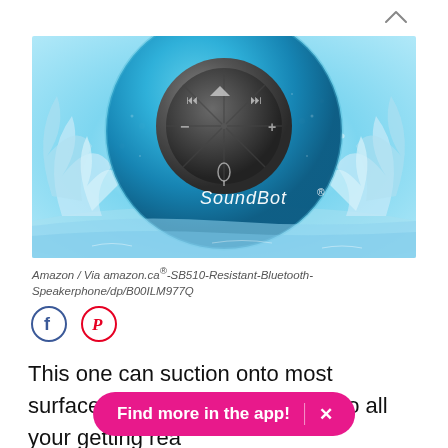[Figure (photo): A blue SoundBot waterproof Bluetooth shower speaker with control buttons in the center, surrounded by water splashing around it. The SoundBot logo/text is visible on the speaker.]
Amazon / Via amazon.ca®-SB510-Resistant-Bluetooth-Speakerphone/dp/B00ILM977Q
[Figure (other): Facebook and Pinterest social sharing icon buttons (circles with F and P logos)]
This one can suction onto most surfaces with ease, so you can do all your getting ready around the house as you get ready